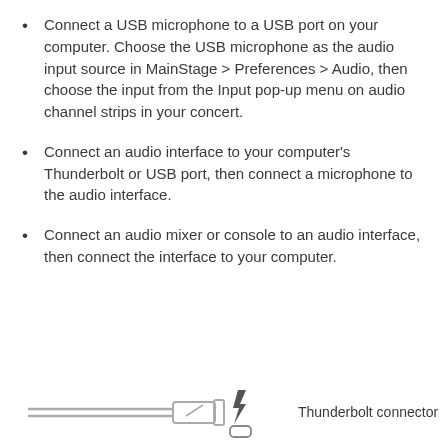Connect a USB microphone to a USB port on your computer. Choose the USB microphone as the audio input source in MainStage > Preferences > Audio, then choose the input from the Input pop-up menu on audio channel strips in your concert.
Connect an audio interface to your computer’s Thunderbolt or USB port, then connect a microphone to the audio interface.
Connect an audio mixer or console to an audio interface, then connect the interface to your computer.
[Figure (illustration): Illustration of a Thunderbolt cable connector on the left, and a Thunderbolt port icon with lightning bolt symbol on the right, labeled 'Thunderbolt connector'.]